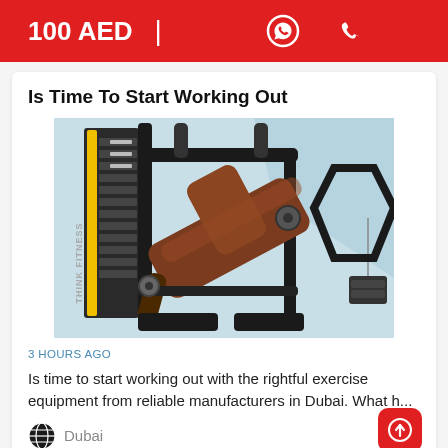100 AED
Is Time To Start Working Out
[Figure (photo): A gym chest press / incline bench press machine branded 'Think Fitness', with a brown padded seat and black metal frame, shown against a light blue background.]
3 HOURS AGO
Is time to start working out with the rightful exercise equipment from reliable manufacturers in Dubai. What h...
Dubai